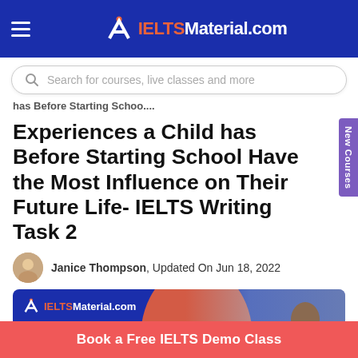IELTSMaterial.com
Search for courses, live classes and more
has Before Starting Schoo....
Experiences a Child has Before Starting School Have the Most Influence on Their Future Life- IELTS Writing Task 2
Janice Thompson, Updated On Jun 18, 2022
[Figure (illustration): IELTSMaterial.com branded banner with dark blue background, red arc, and a person looking sideways. Text: Experiences a Child has Before Starting School Have the Most Influence on Their Future Life]
New Courses
Book a Free IELTS Demo Class